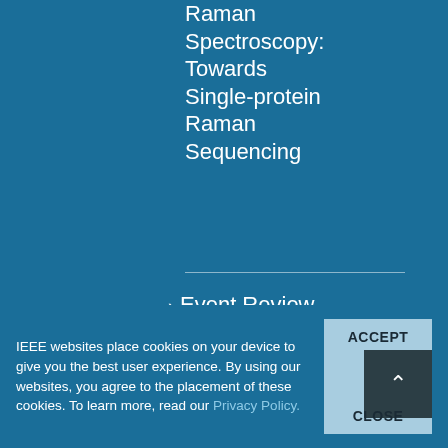Raman Spectroscopy: Towards Single-protein Raman Sequencing
Event Review | IEEE UK and Ireland Section Sponsors STEM for Britain 2022 Prizes
IEEE websites place cookies on your device to give you the best user experience. By using our websites, you agree to the placement of these cookies. To learn more, read our Privacy Policy.